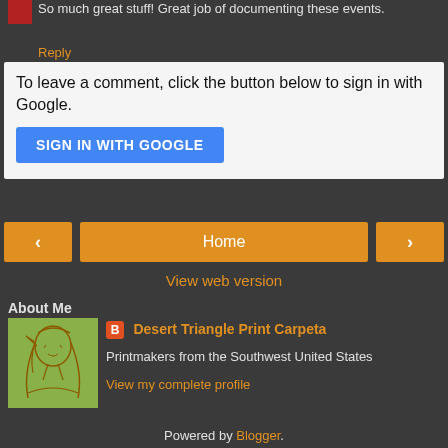So much great stuff! Great job of documenting these events.
Reply
To leave a comment, click the button below to sign in with Google.
SIGN IN WITH GOOGLE
< (previous)
Home
> (next)
View web version
About Me
[Figure (illustration): Profile image: sketch illustration of a figure with long hair on yellow-green background]
Desert Triangle Print Carpeta
Printmakers from the Southwest United States
View my complete profile
Powered by Blogger.